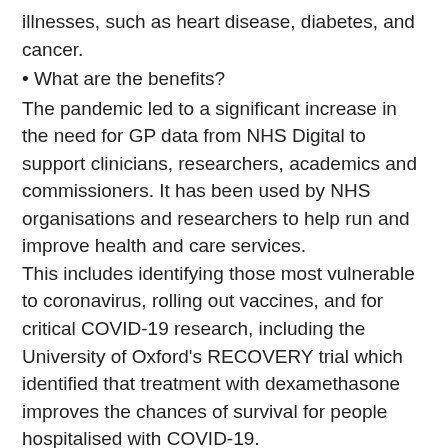illnesses, such as heart disease, diabetes, and cancer.
• What are the benefits?
The pandemic led to a significant increase in the need for GP data from NHS Digital to support clinicians, researchers, academics and commissioners. It has been used by NHS organisations and researchers to help run and improve health and care services. This includes identifying those most vulnerable to coronavirus, rolling out vaccines, and for critical COVID-19 research, including the University of Oxford's RECOVERY trial which identified that treatment with dexamethasone improves the chances of survival for people hospitalised with COVID-19. Patient data is already being collected to improve health and care services. NHS Digital has collected patient data from general practices using a service called the General Practice